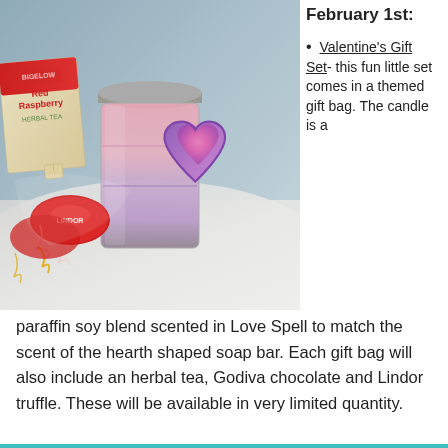February 1st:
[Figure (photo): Photo of Valentine's gift set items on a marble surface: Bigelow Red Raspberry Herbal Tea box, a layered pink and purple candle in a mason jar, a heart-shaped purple and pink swirled soap bar, and two Lindor chocolate truffles in red foil wrapping.]
Valentine's Gift Set- this fun little set comes in a themed gift bag.  The candle is a paraffin soy blend scented in Love Spell to match the scent of the hearth shaped soap bar. Each gift bag will also include an herbal tea, Godiva chocolate and Lindor truffle.  These will be available in very limited quantity.